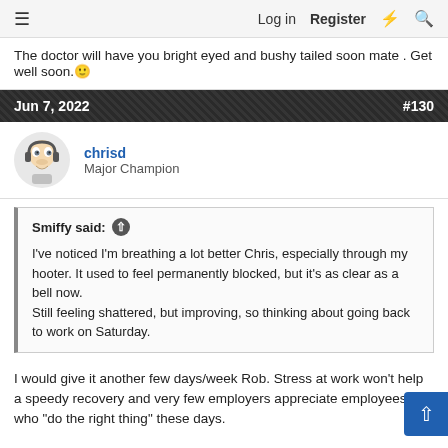≡  Log in  Register  ⚡  🔍
The doctor will have you bright eyed and bushy tailed soon mate . Get well soon.🙂
Jun 7, 2022  #130
chrisd
Major Champion
Smiffy said: ↑
I've noticed I'm breathing a lot better Chris, especially through my hooter. It used to feel permanently blocked, but it's as clear as a bell now.
Still feeling shattered, but improving, so thinking about going back to work on Saturday.
I would give it another few days/week Rob. Stress at work won't help a speedy recovery and very few employers appreciate employees who "do the right thing" these days.